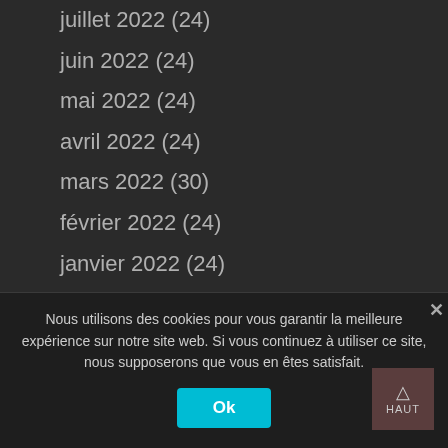juillet 2022 (24)
juin 2022 (24)
mai 2022 (24)
avril 2022 (24)
mars 2022 (30)
février 2022 (24)
janvier 2022 (24)
décembre 2021 (24)
novembre 2021 (45)
octobre 2021 (44)
septembre 2021 (41)
août 2021 (52)
juillet 2021 (39)
juin 2021 (36)
Nous utilisons des cookies pour vous garantir la meilleure expérience sur notre site web. Si vous continuez à utiliser ce site, nous supposerons que vous en êtes satisfait.
Ok